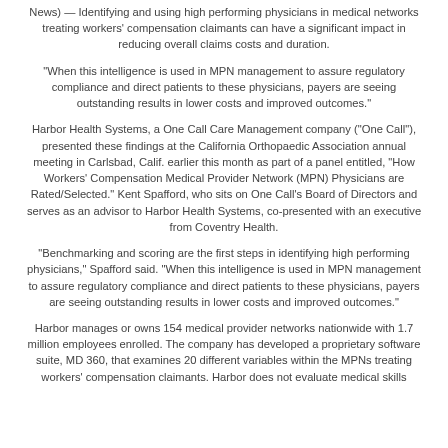News) — Identifying and using high performing physicians in medical networks treating workers' compensation claimants can have a significant impact in reducing overall claims costs and duration.
“When this intelligence is used in MPN management to assure regulatory compliance and direct patients to these physicians, payers are seeing outstanding results in lower costs and improved outcomes.”
Harbor Health Systems, a One Call Care Management company (“One Call”), presented these findings at the California Orthopaedic Association annual meeting in Carlsbad, Calif. earlier this month as part of a panel entitled, “How Workers’ Compensation Medical Provider Network (MPN) Physicians are Rated/Selected.” Kent Spafford, who sits on One Call’s Board of Directors and serves as an advisor to Harbor Health Systems, co-presented with an executive from Coventry Health.
“Benchmarking and scoring are the first steps in identifying high performing physicians,” Spafford said. “When this intelligence is used in MPN management to assure regulatory compliance and direct patients to these physicians, payers are seeing outstanding results in lower costs and improved outcomes.”
Harbor manages or owns 154 medical provider networks nationwide with 1.7 million employees enrolled. The company has developed a proprietary software suite, MD 360, that examines 20 different variables within the MPNs treating workers’ compensation claimants. Harbor does not evaluate medical skills of the physicians.